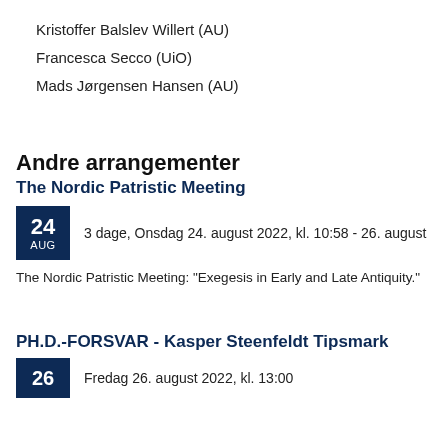Kristoffer Balslev Willert (AU)
Francesca Secco (UiO)
Mads Jørgensen Hansen (AU)
Andre arrangementer
The Nordic Patristic Meeting
3 dage, Onsdag 24. august 2022, kl. 10:58 - 26. august
The Nordic Patristic Meeting: “Exegesis in Early and Late Antiquity.”
PH.D.-FORSVAR - Kasper Steenfeldt Tipsmark
Fredag 26. august 2022, kl. 13:00